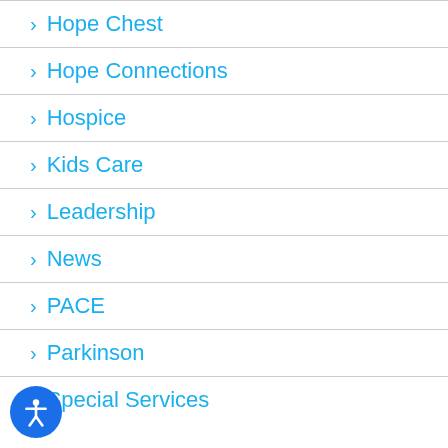> Hope Chest
> Hope Connections
> Hospice
> Kids Care
> Leadership
> News
> PACE
> Parkinson
> Special Services